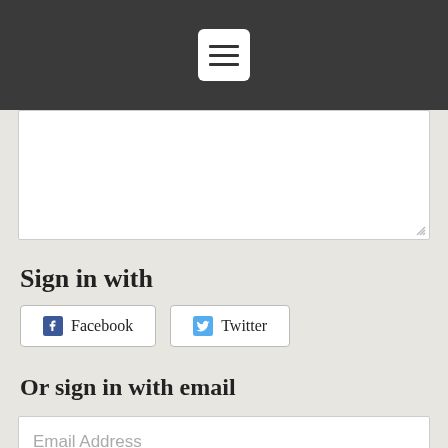[Figure (screenshot): Dark navigation header bar with a white hamburger menu button (three horizontal lines) centered in it]
[Figure (screenshot): White textarea/text input box (empty) with resize handle at bottom right]
Sign in with
[Figure (screenshot): Two social login buttons side by side: Facebook button with Facebook icon and Twitter button with Twitter bird icon]
Or sign in with email
[Figure (screenshot): Email Address input field (white box with placeholder text 'Email Address')]
[Figure (screenshot): Password input field (white box with placeholder text 'Password')]
Remember me